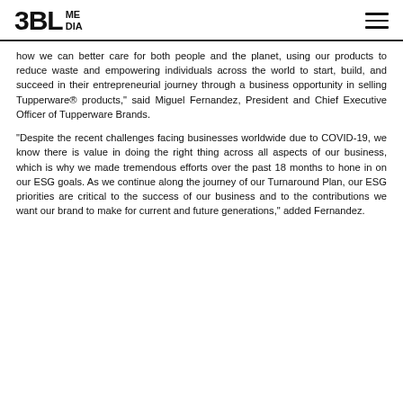3BL MEDIA
how we can better care for both people and the planet, using our products to reduce waste and empowering individuals across the world to start, build, and succeed in their entrepreneurial journey through a business opportunity in selling Tupperware® products," said Miguel Fernandez, President and Chief Executive Officer of Tupperware Brands.
“Despite the recent challenges facing businesses worldwide due to COVID-19, we know there is value in doing the right thing across all aspects of our business, which is why we made tremendous efforts over the past 18 months to hone in on our ESG goals. As we continue along the journey of our Turnaround Plan, our ESG priorities are critical to the success of our business and to the contributions we want our brand to make for current and future generations," added Fernandez.